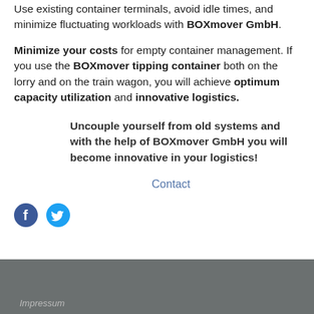Use existing container terminals, avoid idle times, and minimize fluctuating workloads with BOXmover GmbH.
Minimize your costs for empty container management. If you use the BOXmover tipping container both on the lorry and on the train wagon, you will achieve optimum capacity utilization and innovative logistics.
Uncouple yourself from old systems and with the help of BOXmover GmbH you will become innovative in your logistics!
Contact
[Figure (logo): Facebook and Twitter social media icons]
Impressum